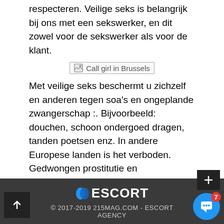respecteren. Veilige seks is belangrijk bij ons met een sekswerker, en dit zowel voor de sekswerker als voor de klant.
[Figure (photo): Placeholder image labeled 'Call girl in Brussels']
Met veilige seks beschermt u zichzelf en anderen tegen soa's en ongeplande zwangerschap :. Bijvoorbeeld: douchen, schoon ondergoed dragen, tanden poetsen enz. In andere Europese landen is het verboden. Gedwongen prostitutie en mensenhandel zijn overal in Europa strafbaar. Listen Listen. Talking to each other before sex Before having sex, the sex worker and the client should discuss the kind of sex they want to have and for what price.
ESCORT
© 2017-2019 215MAG.COM - ESCORT AGENCY